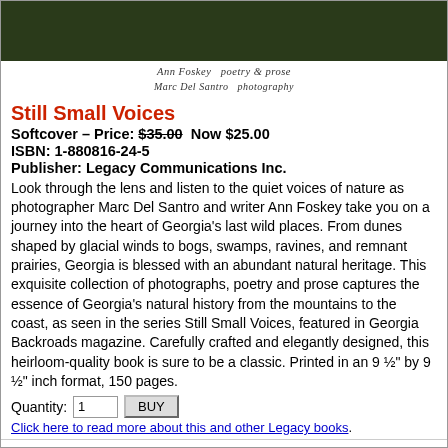[Figure (photo): Book cover photo showing nature scene — dark foliage]
Ann Foskey  poetry & prose
Marc Del Santro  photography
Still Small Voices
Softcover – Price: $35.00  Now $25.00
ISBN: 1-880816-24-5
Publisher: Legacy Communications Inc.
Look through the lens and listen to the quiet voices of nature as photographer Marc Del Santro and writer Ann Foskey take you on a journey into the heart of Georgia's last wild places. From dunes shaped by glacial winds to bogs, swamps, ravines, and remnant prairies, Georgia is blessed with an abundant natural heritage. This exquisite collection of photographs, poetry and prose captures the essence of Georgia's natural history from the mountains to the coast, as seen in the series Still Small Voices, featured in Georgia Backroads magazine. Carefully crafted and elegantly designed, this heirloom-quality book is sure to be a classic. Printed in an 9 ½" by 9 ½" inch format, 150 pages.
Quantity: 1  BUY
Click here to read more about this and other Legacy books.
SUBSCRIBE | Home | Gifts | Back Issues | Books | Advertise | Co... Terms & Conditions | Privacy | Advertise | Change of Addre...